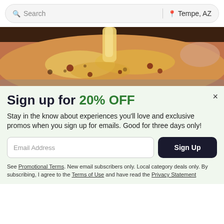Search  |  Tempe, AZ
[Figure (photo): Close-up photo of a cheesy pizza being pulled apart, showing stretchy melted cheese, in a metal baking pan with a hand visible.]
Sign up for 20% OFF
Stay in the know about experiences you'll love and exclusive promos when you sign up for emails. Good for three days only!
Email Address   Sign Up
See Promotional Terms. New email subscribers only. Local category deals only. By subscribing, I agree to the Terms of Use and have read the Privacy Statement